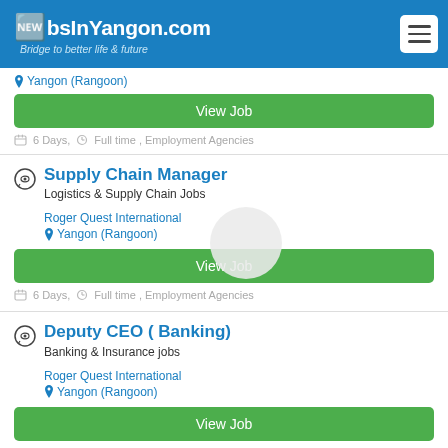JobsInYangon.com — Bridge to better life & future
Yangon (Rangoon)
View Job
6 Days, Full time , Employment Agencies
Supply Chain Manager
Logistics & Supply Chain Jobs
Roger Quest International
Yangon (Rangoon)
View Job
6 Days, Full time , Employment Agencies
Deputy CEO ( Banking)
Banking & Insurance jobs
Roger Quest International
Yangon (Rangoon)
View Job